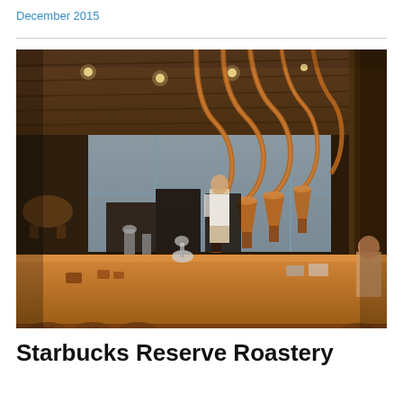December 2015
[Figure (photo): Interior of Starbucks Reserve Roastery showing a long wooden bar counter in the foreground, copper distillery-style equipment and tubes hanging from the ceiling, baristas working behind the counter, wood-paneled ceiling with track lighting, and large windows in the background.]
Starbucks Reserve Roastery